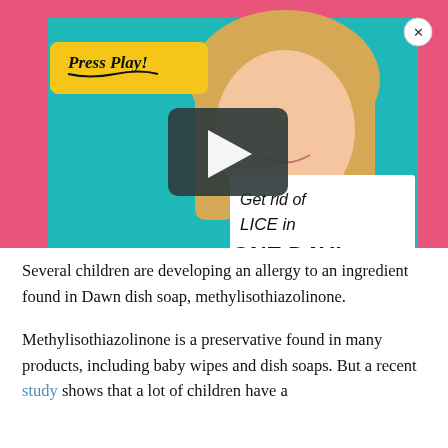[Figure (screenshot): Video thumbnail showing a smiling blonde woman in a pink jacket holding a sign reading 'Get rid of LICE in ONE DAY!' on a teal background. A yellow 'Press Play!' label is visible in the top-left corner. A dark play button overlay is in the center. A close (x) button is in the top-right corner.]
Several children are developing an allergy to an ingredient found in Dawn dish soap, methylisothiazolinone.
Methylisothiazolinone is a preservative found in many products, including baby wipes and dish soaps. But a recent study shows that a lot of children have a